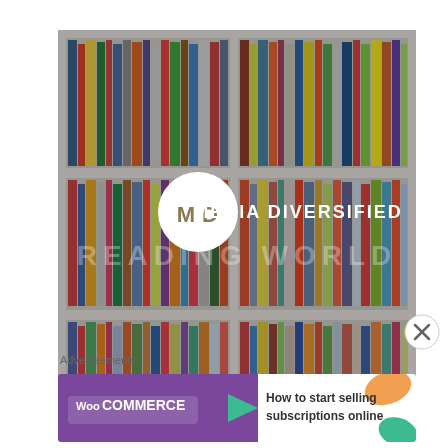[Figure (photo): Bookshelf filled with colorful books arranged on white shelves, with a Media Diversified logo (white circle with MD initials) and text 'MEDIA DIVERSIFIED' overlaid in the center, and semi-transparent 'READING WORLD' text below the logo]
[Figure (logo): Close button (circled X) in bottom-right corner of the bookshelf image]
Advertisements
[Figure (screenshot): WooCommerce advertisement banner with purple background on left showing WooCommerce logo with teal arrow, and white background on right with orange and teal decorative shapes and text 'How to start selling subscriptions online']